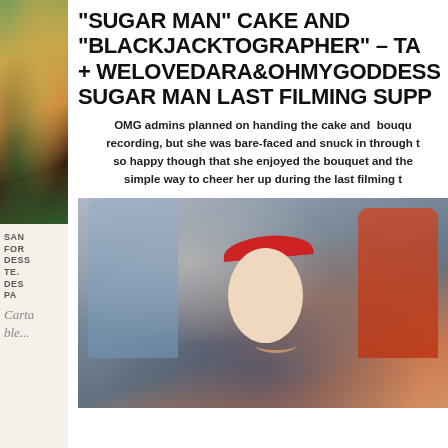[Figure (illustration): Left sidebar with two sections: top decorative illustration with green and gold tones, bottom text block with stacked abbreviated words in bold uppercase (SAN, FOR, DESS, TE, DES, PA) and cursive script below]
"SUGAR MAN" CAKE AND "BLACKJACKTOGRAPHER" – TA + WELOVEDARA&OHMYGODDESS SUGAR MAN LAST FILMING SUP
OMG admins planned on handing the cake and bouquet during the recording, but she was bare-faced and snuck in through the... so happy though that she enjoyed the bouquet and the... simple way to cheer her up during the last filming t...
[Figure (photo): Photo of a young woman smiling, wearing a red bandana/headband in her hair, black top with white earphones, with blurred people in background (person in blue/gray on left, person in red on right)]